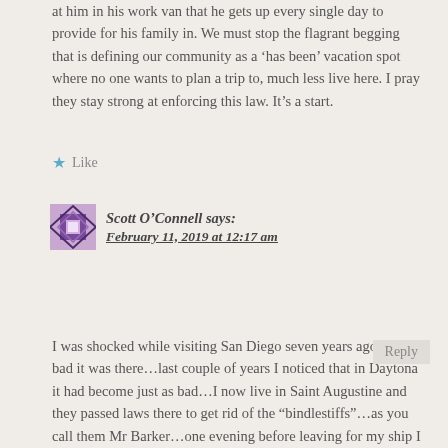at him in his work van that he gets up every single day to provide for his family in. We must stop the flagrant begging that is defining our community as a ‘has been’ vacation spot where no one wants to plan a trip to, much less live here. I pray they stay strong at enforcing this law. It’s a start.
★ Like
Scott O’Connell says:
February 11, 2019 at 12:17 am
I was shocked while visiting San Diego seven years ago how bad it was there…last couple of years I noticed that in Daytona it had become just as bad…I now live in Saint Augustine and they passed laws there to get rid of the “bindlestiffs”…as you call them Mr Barker…one evening before leaving for my ship I took all the food I needed to get rid of to clean out the fridge and carried it in a couple of plastic bags downtown.…I encountered 7 people I thought were
Reply